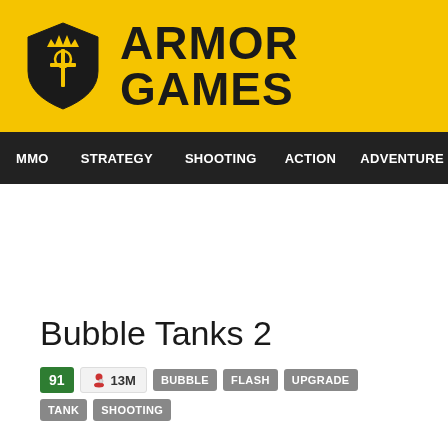[Figure (logo): Armor Games logo with shield icon and brand name]
MMO  STRATEGY  SHOOTING  ACTION  ADVENTURE  P
Bubble Tanks 2
91  13M  BUBBLE  FLASH  UPGRADE  TANK  SHOOTING